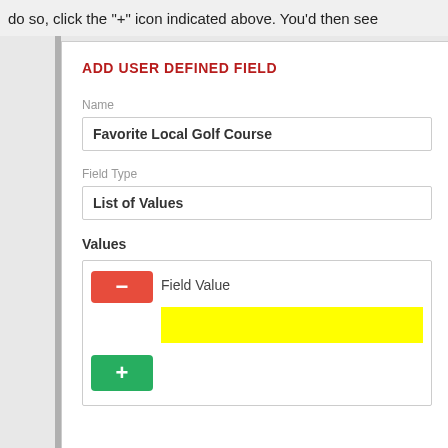do so, click the "+" icon indicated above. You'd then see
ADD USER DEFINED FIELD
Name
Favorite Local Golf Course
Field Type
List of Values
Values
Field Value